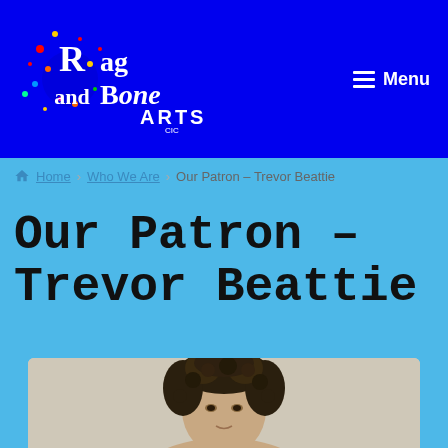[Figure (logo): Rag and Bone ARTS CIC logo on blue background with colorful splatter design]
Menu
Home › Who We Are › Our Patron – Trevor Beattie
Our Patron – Trevor Beattie
[Figure (photo): Portrait photo of Trevor Beattie, a man with curly dark hair, shown from shoulders up against a light background]